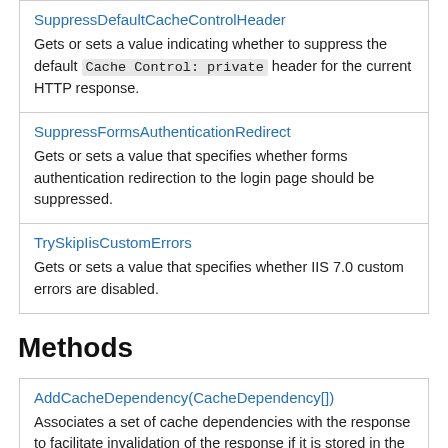| SuppressDefaultCacheControlHeader | Gets or sets a value indicating whether to suppress the default Cache Control: private header for the current HTTP response. |
| SuppressFormsAuthenticationRedirect | Gets or sets a value that specifies whether forms authentication redirection to the login page should be suppressed. |
| TrySkipIisCustomErrors | Gets or sets a value that specifies whether IIS 7.0 custom errors are disabled. |
Methods
| AddCacheDependency(CacheDependency[]) | Associates a set of cache dependencies with the response to facilitate invalidation of the response if it is stored in the output |